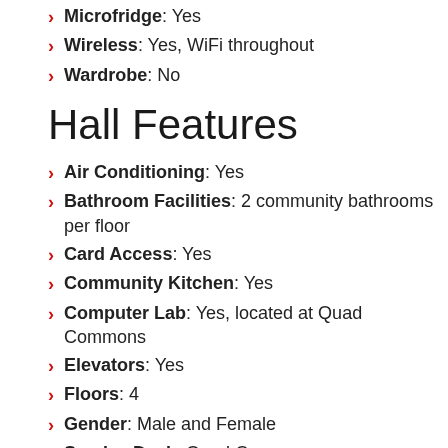Microfridge: Yes
Wireless: Yes, WiFi throughout
Wardrobe: No
Hall Features
Air Conditioning: Yes
Bathroom Facilities: 2 community bathrooms per floor
Card Access: Yes
Community Kitchen: Yes
Computer Lab: Yes, located at Quad Commons
Elevators: Yes
Floors: 4
Gender: Male and Female
Service Desk: Quad Commons